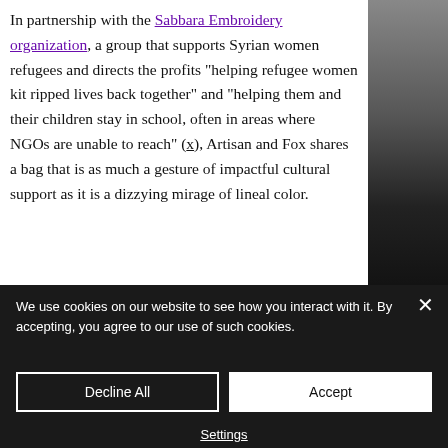In partnership with the Sabbara Embroidery organization, a group that supports Syrian women refugees and directs the profits "helping refugee women kit ripped lives back together" and "helping them and their children stay in school, often in areas where NGOs are unable to reach" (x), Artisan and Fox shares a bag that is as much a gesture of impactful cultural support as it is a dizzying mirage of lineal color.
We use cookies on our website to see how you interact with it. By accepting, you agree to our use of such cookies.
Decline All
Accept
Settings